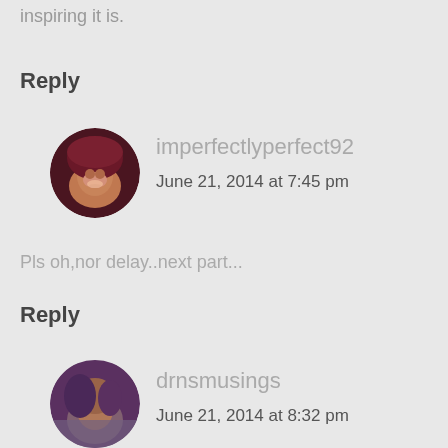inspiring it is.
Reply
[Figure (photo): Circular avatar of user imperfectlyperfect92 — a woman with dark reddish hair and a smile.]
imperfectlyperfect92
June 21, 2014 at 7:45 pm
Pls oh,nor delay..next part...
Reply
[Figure (photo): Circular avatar of user drnsmusings — a woman, partially visible.]
drnsmusings
June 21, 2014 at 8:32 pm